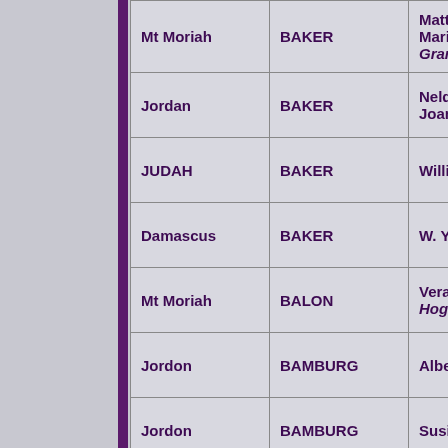| Location | Last Name | First Name |
| --- | --- | --- |
| Mt Moriah | BAKER | Mattie Marie Grant |
| Jordan | BAKER | Nelda Joan |
| JUDAH | BAKER | Willie Lee |
| Damascus | BAKER | W. Y, |
| Mt Moriah | BALON | Vera Hogue |
| Jordon | BAMBURG | Albert E. |
| Jordon | BAMBURG | Susie E. |
|  | BARGNER | Cynthia Jo |
|  |  |  |